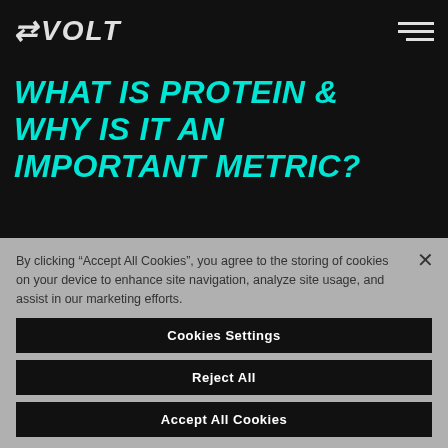EVOLT
WHAT IS PROTEIN & WHY IS IT AN IMPORTANT METRIC?
What is Protein & Why is it an Important Metric?
By clicking “Accept All Cookies”, you agree to the storing of cookies on your device to enhance site navigation, analyze site usage, and assist in our marketing efforts.
Cookies Settings
Reject All
Accept All Cookies